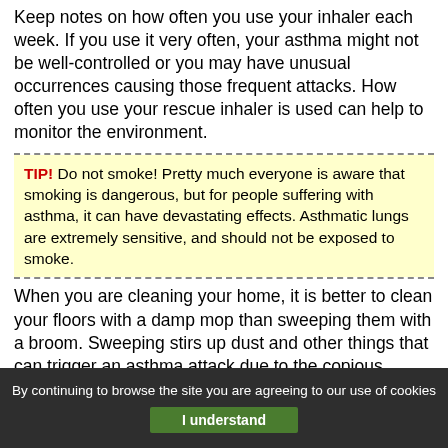Keep notes on how often you use your inhaler each week. If you use it very often, your asthma might not be well-controlled or you may have unusual occurrences causing those frequent attacks. How often you use your rescue inhaler is used can help to monitor the environment.
TIP! Do not smoke! Pretty much everyone is aware that smoking is dangerous, but for people suffering with asthma, it can have devastating effects. Asthmatic lungs are extremely sensitive, and should not be exposed to smoke.
When you are cleaning your home, it is better to clean your floors with a damp mop than sweeping them with a broom. Sweeping stirs up dust and other things that can trigger an asthma attack due to the copious clouds
By continuing to browse the site you are agreeing to our use of cookies
I understand